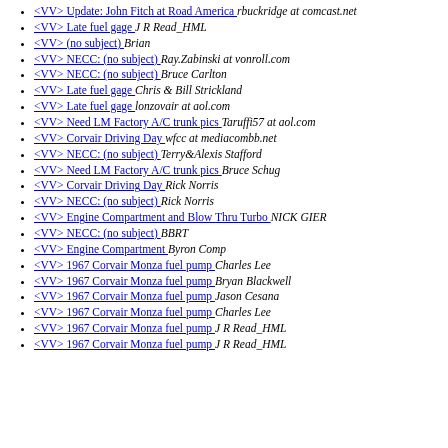<VV> Update: John Fitch at Road America  rbuckridge at comcast.net
<VV> Late fuel gage  J R Read_HML
<VV> (no subject)  Brian
<VV> NECC: (no subject)  Ray.Zabinski at vonroll.com
<VV> NECC: (no subject)  Bruce Carlton
<VV> Late fuel gage  Chris & Bill Strickland
<VV> Late fuel gage  lonzovair at aol.com
<VV> Need LM Factory A/C trunk pics  Taruffi57 at aol.com
<VV> Corvair Driving Day  wfcc at mediacombb.net
<VV> NECC: (no subject)  Terry&Alexis Stafford
<VV> Need LM Factory A/C trunk pics  Bruce Schug
<VV> Corvair Driving Day  Rick Norris
<VV> NECC: (no subject)  Rick Norris
<VV> Engine Compartment and Blow Thru Turbo  NICK GIER
<VV> NECC: (no subject)  BBRT
<VV> Engine Compartment  Byron Comp
<VV> 1967 Corvair Monza fuel pump  Charles Lee
<VV> 1967 Corvair Monza fuel pump  Bryan Blackwell
<VV> 1967 Corvair Monza fuel pump  Jason Cesana
<VV> 1967 Corvair Monza fuel pump  Charles Lee
<VV> 1967 Corvair Monza fuel pump  J R Read_HML
<VV> 1967 Corvair Monza fuel pump  J R Read_HML